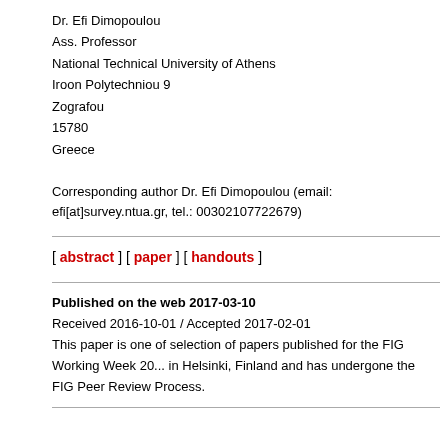Dr. Efi Dimopoulou
Ass. Professor
National Technical University of Athens
Iroon Polytechniou 9
Zografou
15780
Greece
Corresponding author Dr. Efi Dimopoulou (email: efi[at]survey.ntua.gr, tel.: 00302107722679)
[ abstract ] [ paper ] [ handouts ]
Published on the web 2017-03-10
Received 2016-10-01 / Accepted 2017-02-01
This paper is one of selection of papers published for the FIG Working Week 20... in Helsinki, Finland and has undergone the FIG Peer Review Process.